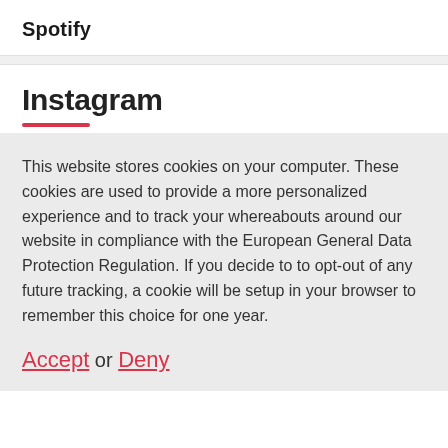Spotify
Instagram
This website stores cookies on your computer. These cookies are used to provide a more personalized experience and to track your whereabouts around our website in compliance with the European General Data Protection Regulation. If you decide to to opt-out of any future tracking, a cookie will be setup in your browser to remember this choice for one year.
Accept or Deny